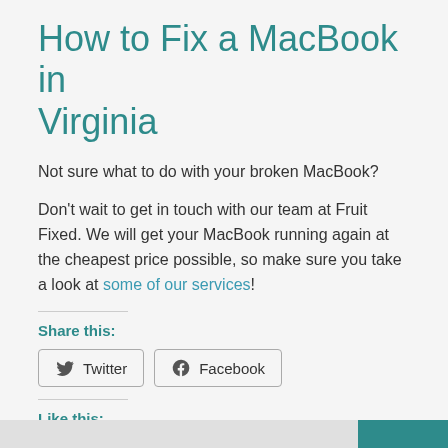How to Fix a MacBook in Virginia
Not sure what to do with your broken MacBook?
Don't wait to get in touch with our team at Fruit Fixed. We will get your MacBook running again at the cheapest price possible, so make sure you take a look at some of our services!
Share this:
Like this:
Loading...